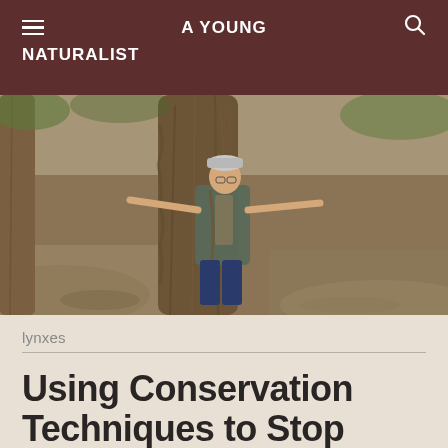A YOUNG NATURALIST
[Figure (photo): A person with arms spread wide hugging a large tree trunk in a forest setting, wearing a vest and cap.]
lynxes
Using Conservation Techniques to Stop Poaching of Wildlife